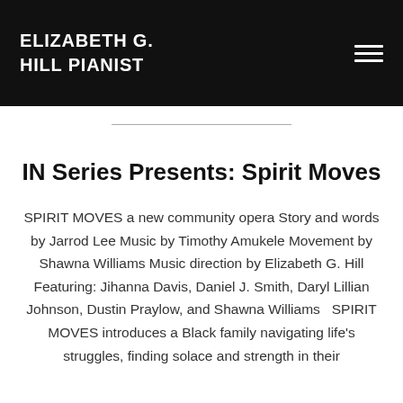ELIZABETH G. HILL PIANIST
IN Series Presents: Spirit Moves
SPIRIT MOVES a new community opera Story and words by Jarrod Lee Music by Timothy Amukele Movement by Shawna Williams Music direction by Elizabeth G. Hill Featuring: Jihanna Davis, Daniel J. Smith, Daryl Lillian Johnson, Dustin Praylow, and Shawna Williams   SPIRIT MOVES introduces a Black family navigating life's struggles, finding solace and strength in their